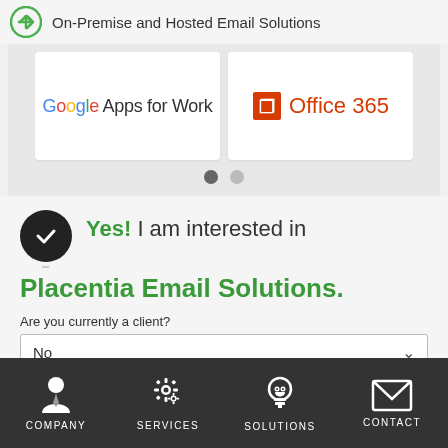On-Premise and Hosted Email Solutions
[Figure (logo): Google Apps for Work logo]
[Figure (logo): Office 365 logo]
Yes! I am interested in Placentia Email Solutions.
Are you currently a client?
No
COMPANY  SERVICES  SOLUTIONS  CONTACT